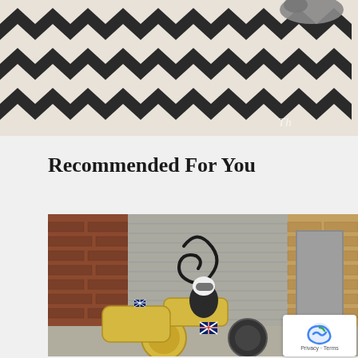[Figure (photo): Top portion of a photo showing a black and white zigzag/chevron patterned rug or carpet on a floor, with a cat partially visible at the top edge. Italic text watermark partially visible at lower right.]
Recommended For You
[Figure (photo): A dog wearing goggles and gear sitting on a yellow vintage motorcycle with sidecar, parked in front of a brick building with a metal roller shutter door that has graffiti on it. A British flag (Union Jack) sticker is visible on the sidecar. The motorcycle is yellow/cream colored.]